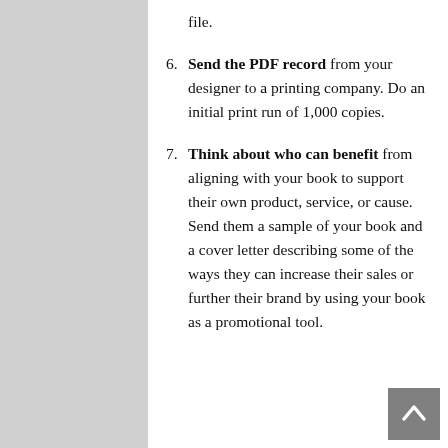file.
6. Send the PDF record from your designer to a printing company. Do an initial print run of 1,000 copies.
7. Think about who can benefit from aligning with your book to support their own product, service, or cause. Send them a sample of your book and a cover letter describing some of the ways they can increase their sales or further their brand by using your book as a promotional tool.